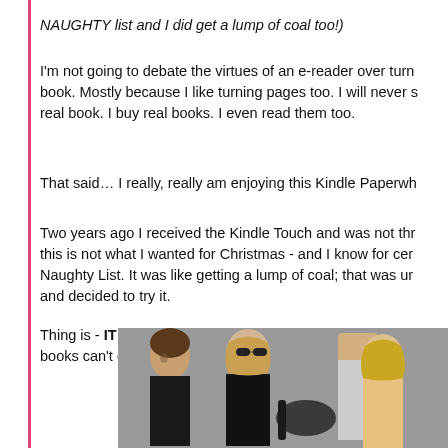NAUGHTY list and I did get a lump of coal too!)
I'm not going to debate the virtues of an e-reader over turn[ing pages in a] book. Mostly because I like turning pages too. I will never stop reading a real book. I buy real books. I even read them too.
That said… I really, really am enjoying this Kindle Paperwh[ite]
Two years ago I received the Kindle Touch and was not thr[illed]; this is not what I wanted for Christmas - and I know for cer[tain] Naughty List. It was like getting a lump of coal; that was un[til I opened it] and decided to try it.
Thing is - IT IS NOT A REAL BOOK - I get that, but it does [things real] books can't do; it fits nicely into the side pocket of my purs[e]
[Figure (photo): Fashion photo showing three women/models, appears to be a runway or backstage scene]